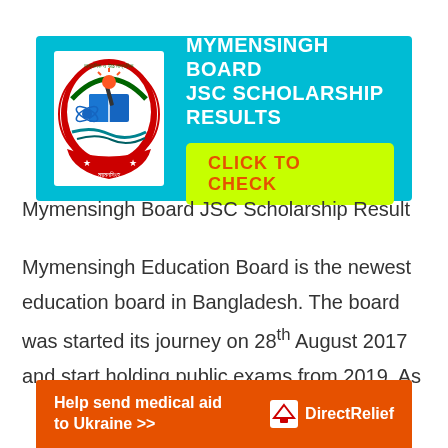[Figure (infographic): Mymensingh Board JSC Scholarship Results banner with board logo on cyan background and 'CLICK TO CHECK' button in yellow-green]
Mymensingh Board JSC Scholarship Result
Mymensingh Education Board is the newest education board in Bangladesh. The board was started its journey on 28th August 2017 and start holding public exams from 2019. As
[Figure (infographic): Advertisement banner: 'Help send medical aid to Ukraine >>' with Direct Relief logo on orange background]